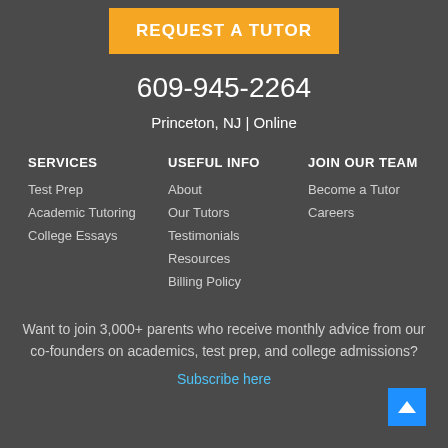REQUEST A TUTOR
609-945-2264
Princeton, NJ | Online
SERVICES
Test Prep
Academic Tutoring
College Essays
USEFUL INFO
About
Our Tutors
Testimonials
Resources
Billing Policy
JOIN OUR TEAM
Become a Tutor
Careers
Want to join 3,000+ parents who receive monthly advice from our co-founders on academics, test prep, and college admissions?
Subscribe here